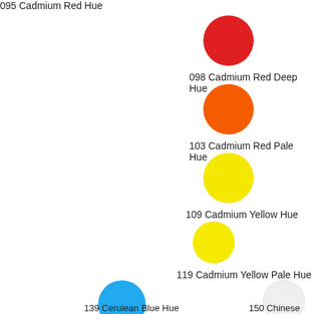095 Cadmium Red Hue
[Figure (illustration): Red circle representing color swatch 098 Cadmium Red Deep Hue]
098 Cadmium Red Deep Hue
[Figure (illustration): Orange circle representing color swatch 103 Cadmium Red Pale Hue]
103 Cadmium Red Pale Hue
[Figure (illustration): Yellow circle representing color swatch 109 Cadmium Yellow Hue]
109 Cadmium Yellow Hue
[Figure (illustration): Yellow circle representing color swatch 119 Cadmium Yellow Pale Hue]
119 Cadmium Yellow Pale Hue
[Figure (illustration): Blue circle representing color swatch 139 Cerulean Blue Hue]
139 Cerulean Blue Hue
[Figure (illustration): White/light grey circle representing color swatch 150 Chinese White]
150 Chinese White